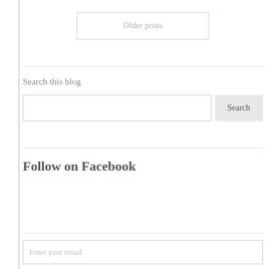Older posts
Search this blog
Follow on Facebook
Enter your email